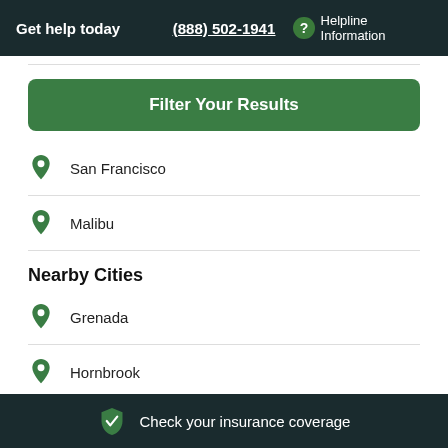Get help today  (888) 502-1941  Helpline Information
Filter Your Results
San Francisco
Malibu
Nearby Cities
Grenada
Hornbrook
Check your insurance coverage